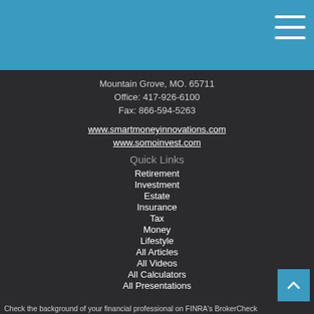Mountain Grove, MO. 65711
Office: 417-926-6100
Fax: 866-594-5263
www.smartmoneyinnovations.com
www.somoinvest.com
Quick Links
Retirement
Investment
Estate
Insurance
Tax
Money
Lifestyle
All Articles
All Videos
All Calculators
All Presentations
Check the background of your financial professional on FINRA's BrokerCheck